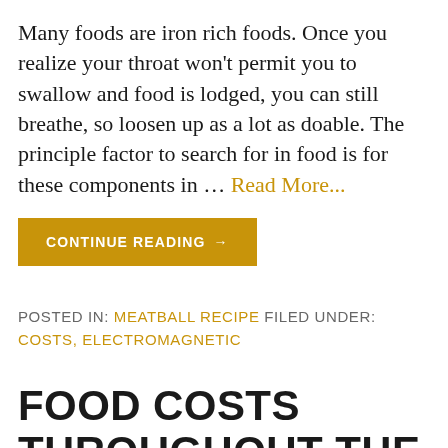Many foods are iron rich foods. Once you realize your throat won't permit you to swallow and food is lodged, you can still breathe, so loosen up as a lot as doable. The principle factor to search for in food is for these components in … Read More...
CONTINUE READING →
POSTED IN: MEATBALL RECIPE FILED UNDER: COSTS, ELECTROMAGNETIC
FOOD COSTS THROUGHOUT THE NICE DESPAIR